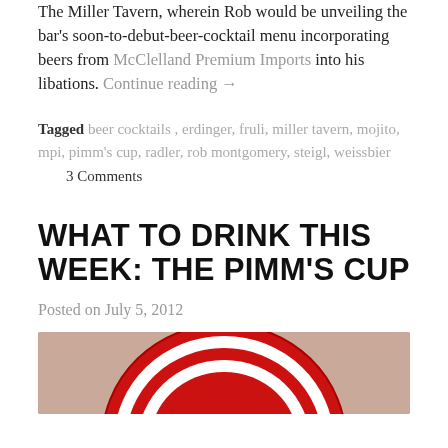The Miller Tavern, wherein Rob would be unveiling the bar's soon-to-debut-beer-cocktail menu incorporating beers from McClelland Premium Imports into his libations. Continue reading →
Tagged beer cocktails, erdinger, fruli, miller tavern, mojito, mpi, pimm's cup, radler, rob montgomery, steigl, weissbier   3 Comments
WHAT TO DRINK THIS WEEK: THE PIMM'S CUP
Posted on July 5, 2012
[Figure (photo): Close-up photo of a red and white bottle cap on a light background]